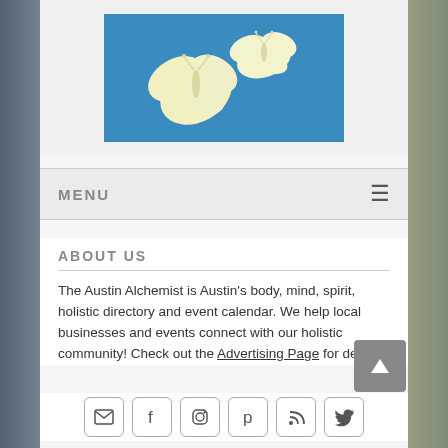[Figure (illustration): Blue background image with two cream/yellow butterfly silhouettes]
MENU
ABOUT US
The Austin Alchemist is Austin's body, mind, spirit, holistic directory and event calendar. We help local businesses and events connect with our holistic community! Check out the Advertising Page for details.
[Figure (infographic): Row of social media icons: email, Facebook, Instagram, Pinterest, RSS, Twitter]